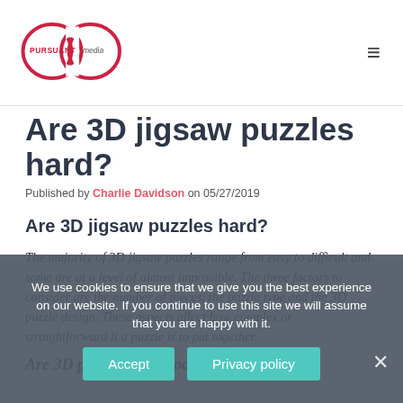[Figure (logo): Pursuant Media infinity logo with 'PURSUANT media' text]
Are 3D jigsaw puzzles hard?
Published by Charlie Davidson on 05/27/2019
Are 3D jigsaw puzzles hard?
The majority of 3D jigsaw puzzles range from easy to difficult and some are at a level of almost impossible. The three factors to consider are the number of pieces, the puzzle type and the 3D puzzle design. These aspects affect how complex or straightforward it a puzzle is to put together.
Are 3D puzzles any good?
We use cookies to ensure that we give you the best experience on our website. If you continue to use this site we will assume that you are happy with it.